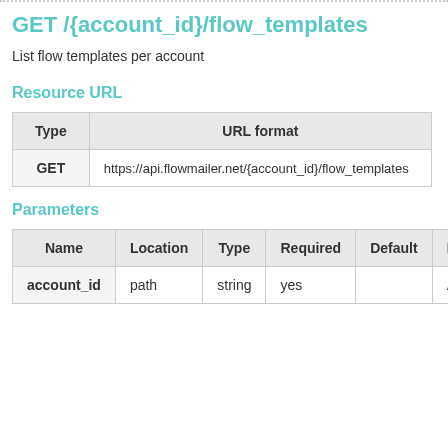GET /{account_id}/flow_templates
List flow templates per account
Resource URL
| Type | URL format |
| --- | --- |
| GET | https://api.flowmailer.net/{account_id}/flow_templates |
Parameters
| Name | Location | Type | Required | Default | Description |
| --- | --- | --- | --- | --- | --- |
| account_id | path | string | yes |  | Account ID |